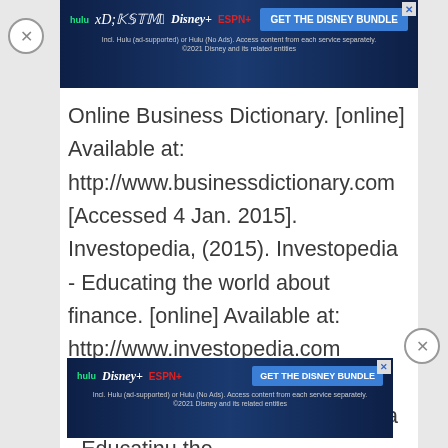[Figure (screenshot): Advertisement banner for Disney Bundle (Hulu, Disney+, ESPN+) at top of page]
Online Business Dictionary. [online] Available at: http://www.businessdictionary.com [Accessed 4 Jan. 2015]. Investopedia, (2015). Investopedia - Educating the world about finance. [online] Available at: http://www.investopedia.com [Accessed 4 Jan. 2015]. Investopedia, (2015). Investopedia - Educating the world about finance. [online] Available at: [Accessed 4 Jan. 2015].
[Figure (screenshot): Advertisement banner for Disney Bundle (Hulu, Disney+, ESPN+) at bottom of page]